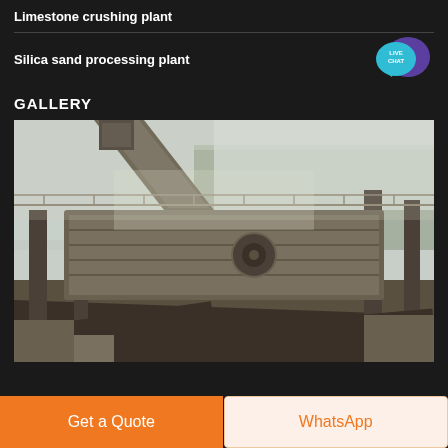Limestone crushing plant
Silica sand processing plant
GALLERY
[Figure (photo): Industrial limestone or silica sand crushing/screening plant machinery — large vibrating screen equipment on metal framework, dusty outdoor quarry setting with trees in background]
Get a Quote
WhatsApp